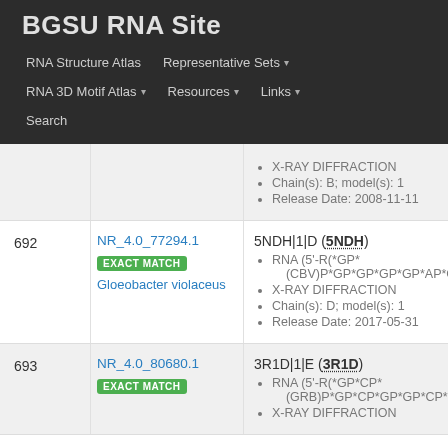BGSU RNA Site
RNA Structure Atlas | Representative Sets | RNA 3D Motif Atlas | Resources | Links | Search
| # | ID | Details |
| --- | --- | --- |
|  |  | X-RAY DIFFRACTION
Chain(s): B; model(s): 1
Release Date: 2008-11-11 |
| 692 | NR_4.0_77294.1 EXACT MATCH Gloeobacter violaceus | 5NDH|1|D (5NDH)
RNA (5'-R(*GP*(CBV)P*GP*GP*GP*GP*AP*CP*G[...]
X-RAY DIFFRACTION
Chain(s): D; model(s): 1
Release Date: 2017-05-31 |
| 693 | NR_4.0_80680.1 EXACT MATCH | 3R1D|1|E (3R1D)
RNA (5'-R(*GP*CP*(GRB)P*GP*CP*GP*GP*CP*G[...]
X-RAY DIFFRACTION |